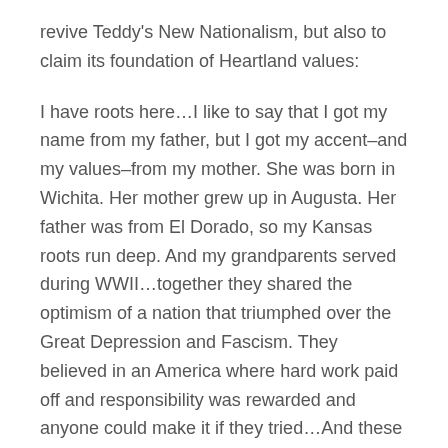revive Teddy's New Nationalism, but also to claim its foundation of Heartland values:
I have roots here…I like to say that I got my name from my father, but I got my accent–and my values–from my mother. She was born in Wichita. Her mother grew up in Augusta. Her father was from El Dorado, so my Kansas roots run deep. And my grandparents served during WWII…together they shared the optimism of a nation that triumphed over the Great Depression and Fascism. They believed in an America where hard work paid off and responsibility was rewarded and anyone could make it if they tried…And these values gave rise to the largest middle class and the strongest economy that the world has ever known.
Obama claims regional roots for himself effectively, sprouting from these roots the values that flower into the same millennial hopes nurtured by Roosevelt a century prior. Contrary to the